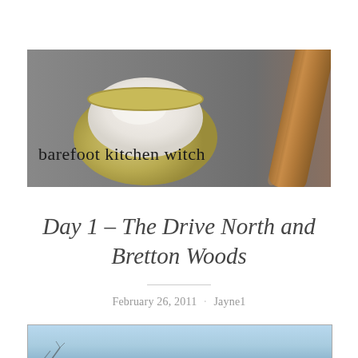[Figure (photo): Blog header image showing a yellow bowl filled with white flour/powder on a grey countertop, with a wooden rolling pin on the right side. Text overlay reads 'barefoot kitchen witch' in a handwritten-style font.]
Day 1 – The Drive North and Bretton Woods
February 26, 2011 · Jayne1
[Figure (photo): Partial view of a photo showing a light blue sky, likely an outdoor winter scene. Tree branches visible at the bottom edge.]